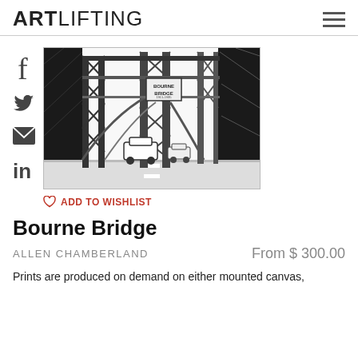ARTLIFTING
[Figure (illustration): Black and white ink drawing of the Bourne Bridge structure showing steel trusses, arches, and cars driving across. A sign reading 'BOURNE BRIDGE' is visible on the structure.]
♡ ADD TO WISHLIST
Bourne Bridge
ALLEN CHAMBERLAND
From $ 300.00
Prints are produced on demand on either mounted canvas,